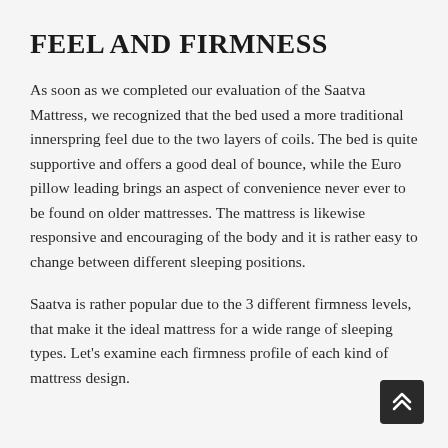FEEL AND FIRMNESS
As soon as we completed our evaluation of the Saatva Mattress, we recognized that the bed used a more traditional innerspring feel due to the two layers of coils. The bed is quite supportive and offers a good deal of bounce, while the Euro pillow leading brings an aspect of convenience never ever to be found on older mattresses. The mattress is likewise responsive and encouraging of the body and it is rather easy to change between different sleeping positions.
Saatva is rather popular due to the 3 different firmness levels, that make it the ideal mattress for a wide range of sleeping types. Let's examine each firmness profile of each kind of mattress design.